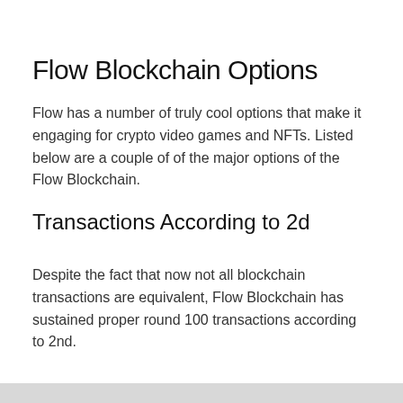Flow Blockchain Options
Flow has a number of truly cool options that make it engaging for crypto video games and NFTs. Listed below are a couple of of the major options of the Flow Blockchain.
Transactions According to 2d
Despite the fact that now not all blockchain transactions are equivalent, Flow Blockchain has sustained proper round 100 transactions according to 2nd.